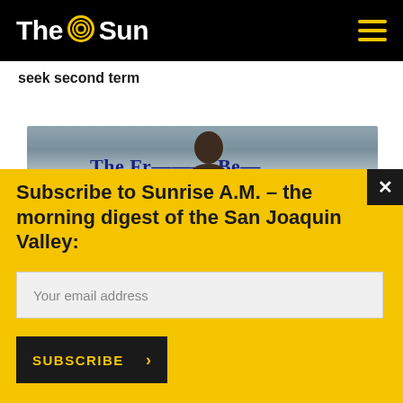The Sun
seek second term
[Figure (photo): Partial photo showing a person in front of a sign reading 'The Fresno Bee']
Subscribe to Sunrise A.M. – the morning digest of the San Joaquin Valley:
Your email address
SUBSCRIBE >